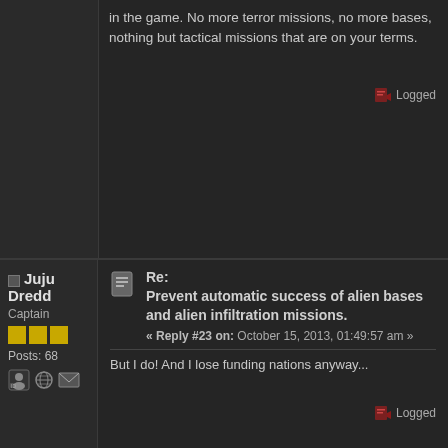in the game. No more terror missions, no more bases, nothing but tactical missions that are on your terms.
Logged
☐ Juju Dredd
Captain
Posts: 68
Re: Prevent automatic success of alien bases and alien infiltration missions.
« Reply #23 on: October 15, 2013, 01:49:57 am »
But I do! And I lose funding nations anyway...
Logged
☐ BrianW
Squaddie
Posts: 1
Re: Prevent automatic success of alien bases and alien infiltration missions.